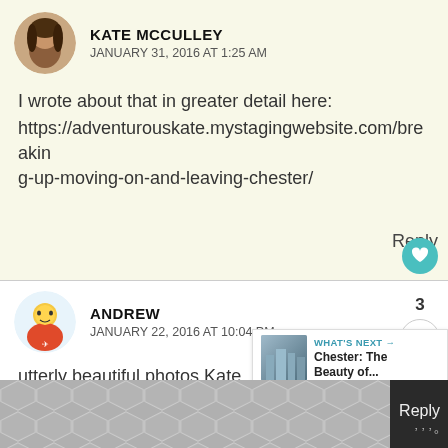KATE MCCULLEY
JANUARY 31, 2016 AT 1:25 AM
I wrote about that in greater detail here:
https://adventurouskate.mystagingwebsite.com/breaking-up-moving-on-and-leaving-chester/
Reply
ANDREW
JANUARY 22, 2016 AT 10:04 PM
3
utterly beautiful photos Kate. I especially lov
WHAT'S NEXT → Chester: The Beauty of...
Reply